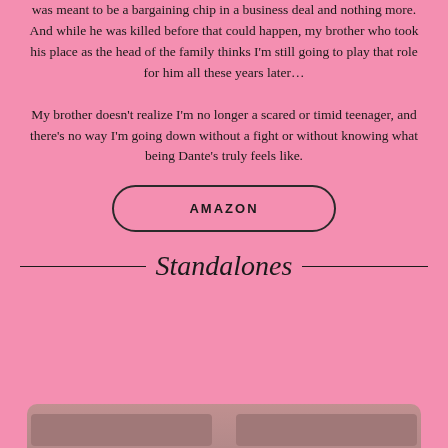was meant to be a bargaining chip in a business deal and nothing more. And while he was killed before that could happen, my brother who took his place as the head of the family thinks I'm still going to play that role for him all these years later… My brother doesn't realize I'm no longer a scared or timid teenager, and there's no way I'm going down without a fight or without knowing what being Dante's truly feels like.
AMAZON
Standalones
[Figure (photo): Bottom portion of a photo showing two people, cropped at the bottom of the page]